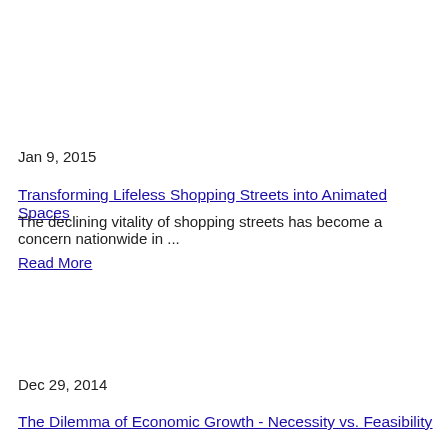Jan 9, 2015
Transforming Lifeless Shopping Streets into Animated Spaces
The declining vitality of shopping streets has become a concern nationwide in ...
Read More
Dec 29, 2014
The Dilemma of Economic Growth - Necessity vs. Feasibility